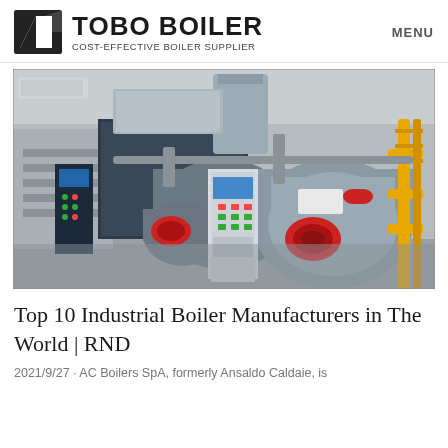TOBO BOILER — COST-EFFECTIVE BOILER SUPPLIER | MENU
[Figure (photo): Industrial boiler room with multiple large cylindrical boilers, red burners, control panels, yellow gas pipes, and stainless steel ductwork inside a facility.]
Top 10 Industrial Boiler Manufacturers in The World | RND
2021/9/27 · AC Boilers SpA, formerly Ansaldo Caldaie, is